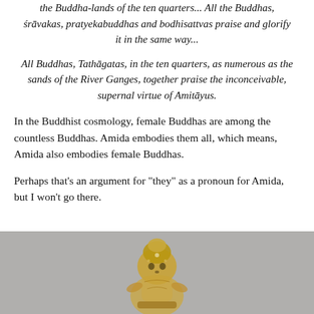the Buddha-lands of the ten quarters... All the Buddhas, śrāvakas, pratyekabuddhas and bodhisattvas praise and glorify it in the same way...
All Buddhas, Tathāgatas, in the ten quarters, as numerous as the sands of the River Ganges, together praise the inconceivable, supernal virtue of Amitāyus.
In the Buddhist cosmology, female Buddhas are among the countless Buddhas. Amida embodies them all, which means, Amida also embodies female Buddhas.
Perhaps that’s an argument for “they” as a pronoun for Amida, but I won’t go there.
[Figure (photo): Partial view of a golden Buddhist statue or ornament on a grey background, showing intricate decorative metalwork.]